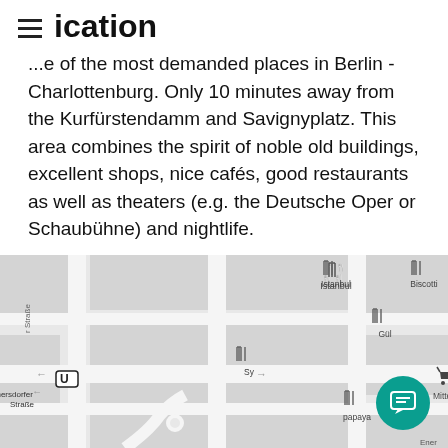ication
...e of the most demanded places in Berlin - Charlottenburg. Only 10 minutes away from the Kurfürstendamm and Savignyplatz. This area combines the spirit of noble old buildings, excellent shops, nice cafés, good restaurants as well as theaters (e.g. the Deutsche Oper or Schaubühne) and nightlife.
[Figure (map): Street map of Charlottenburg area in Berlin showing streets and POIs including Istanbul, Biscotti, Gül, Sy, papaya restaurants, Mitte Meer shop, and Wilmersdorfer Straße U-Bahn station.]